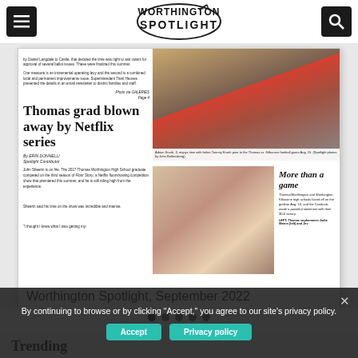Worthington Spotlight navigation bar with menu and search buttons
[Figure (screenshot): Worthington Spotlight newspaper front page image showing 'Thomas grad blown away by Netflix series' headline and 'More than a game' sidebar. Caption reads: Worthington Spotlight, September 2022]
Worthington Spotlight, September 2022
By continuing to browse or by clicking "Accept," you agree to our site's privacy policy.
Trending